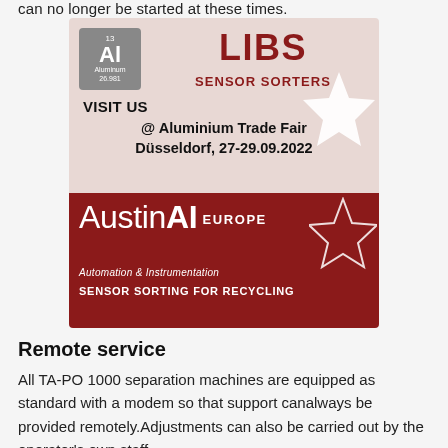can no longer be started at these times.
[Figure (advertisement): AustinAI Europe advertisement featuring LIBS Sensor Sorters. Top half has a light pink/beige background with an Aluminium periodic element tile (Al, 13, 26.981), large red LIBS SENSOR SORTERS heading, VISIT US @ Aluminium Trade Fair Düsseldorf, 27-29.09.2022 text, and a white star graphic. Bottom half has dark red background with AustinAI EUROPE logo, Automation & Instrumentation tagline, and SENSOR SORTING FOR RECYCLING text.]
Remote service
All TA-PO 1000 separation machines are equipped as standard with a modem so that support canalways be provided remotely.Adjustments can also be carried out by the operator's own staff